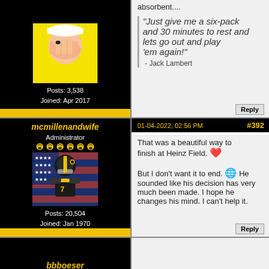[Figure (photo): Forum avatar: child with hand over face on yellow background]
Posts: 3,538
Joined: Apr 2017
absorbent....
"Just give me a six-pack and 30 minutes to rest and lets go out and play 'em again!" - Jack Lambert
Reply
mcmillenandwife
Administrator
01-04-2022, 02:56 PM
#392
[Figure (photo): Forum avatar: Pittsburgh Steelers football player with helmet and American flag background]
Posts: 20,504
Joined: Jan 1970
That was a beautiful way to finish at Heinz Field. ❤️ But I don't want it to end. 🌐 He sounded like his decision has very much been made. I hope he changes his mind. I can't help it.
Reply
bbboeser